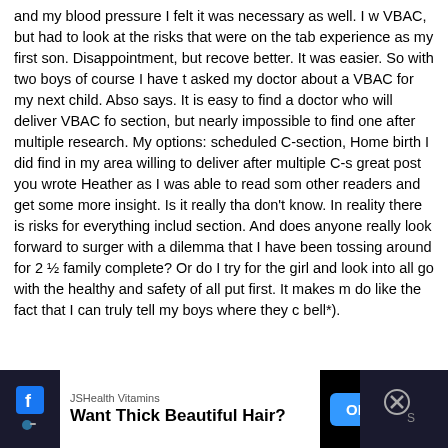and my blood pressure I felt it was necessary as well. I w VBAC, but had to look at the risks that were on the tab experience as my first son. Disappointment, but recove better. It was easier. So with two boys of course I have t asked my doctor about a VBAC for my next child. Abso says. It is easy to find a doctor who will deliver VBAC fo section, but nearly impossible to find one after multiple research. My options: scheduled C-section, Home birth I did find in my area willing to deliver after multiple C-s great post you wrote Heather as I was able to read som other readers and get some more insight. Is it really tha don't know. In reality there is risks for everything includ section. And does anyone really look forward to surger with a dilemma that I have been tossing around for 2 ½ family complete? Or do I try for the girl and look into all go with the healthy and safety of all put first. It makes m do like the fact that I can truly tell my boys where they c bell*).
[Figure (screenshot): Advertisement banner for JSHealth Vitamins: 'Want Thick Beautiful Hair?' with OPEN button, Facebook icon on left, close X on right, dark background.]